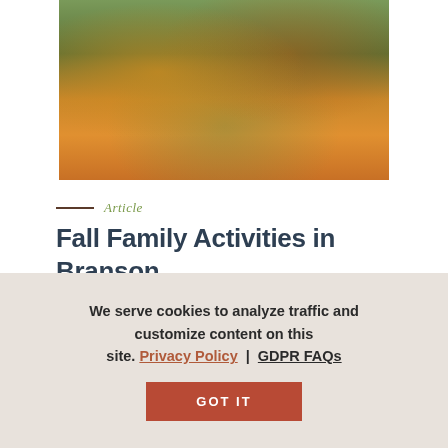[Figure (photo): Two people (a woman in orange and a man in plaid shirt) posing excitedly in front of a large decorative pumpkin/fall display with orange foliage]
Article
Fall Family Activities in Branson
Fall is the perfect time of year to bring the whole family to Branson. From unique festivals and attractions to...
We serve cookies to analyze traffic and customize content on this site. Privacy Policy | GDPR FAQs GOT IT